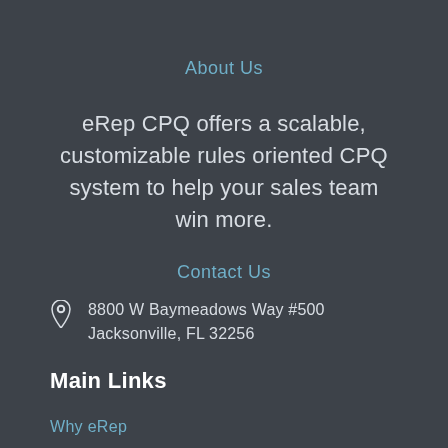About Us
eRep CPQ offers a scalable, customizable rules oriented CPQ system to help your sales team win more.
Contact Us
8800 W Baymeadows Way #500 Jacksonville, FL 32256
Main Links
Why eRep